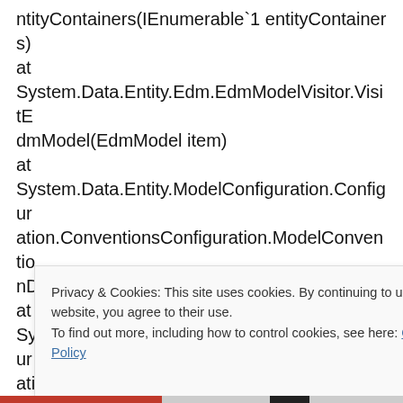ntityContainers(IEnumerable`1 entityContainers)
at
System.Data.Entity.Edm.EdmModelVisitor.VisitEdmModel(EdmModel item)
at
System.Data.Entity.ModelConfiguration.Configuration.ConventionsConfiguration.ModelConventionDispatcher.VisitEdmModel(EdmModel item)
at
System.Data.Entity.ModelConfiguration.Configuration.ConventionsConfiguration.ModelConventio
Privacy & Cookies: This site uses cookies. By continuing to use this website, you agree to their use.
To find out more, including how to control cookies, see here: Cookie Policy